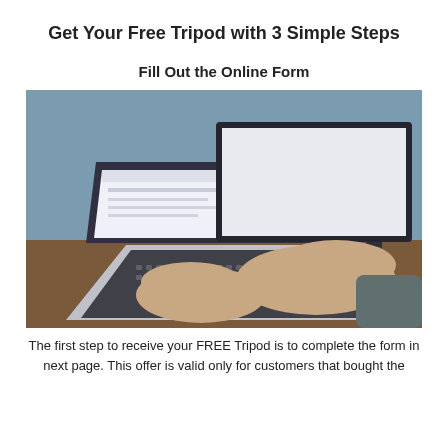Get Your Free Tripod with 3 Simple Steps
Fill Out the Online Form
[Figure (photo): Person's hands typing on a laptop keyboard, with a large external monitor in the background on a wooden desk.]
The first step to receive your FREE Tripod is to complete the form in next page. This offer is valid only for customers that bought the